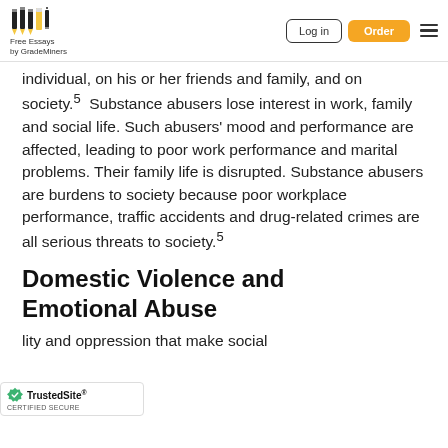Free Essays by GradeMiners | Log in | Order
individual, on his or her friends and family, and on society.5  Substance abusers lose interest in work, family and social life. Such abusers' mood and performance are affected, leading to poor work performance and marital problems. Their family life is disrupted. Substance abusers are burdens to society because poor workplace performance, traffic accidents and drug-related crimes are all serious threats to society.5
Domestic Violence and Emotional Abuse
lity and oppression that make social